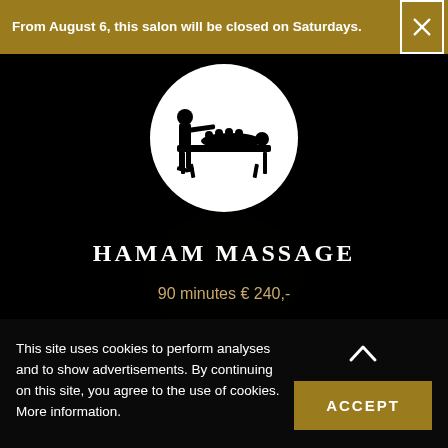From August 6, this salon will be closed on Saturdays.
[Figure (illustration): Circular white logo with black silhouette of a person performing a massage on a table with flowers]
HAMAM MASSAGE
90 minutes € 240,-
[Figure (illustration): Faint background illustration of a person silhouette]
This site uses cookies to perform analyses and to show advertisements. By continuing on this site, you agree to the use of cookies. More information.
ACCEPT